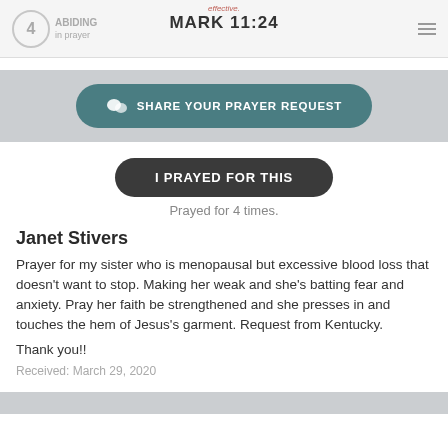MARK 11:24
SHARE YOUR PRAYER REQUEST
I PRAYED FOR THIS
Prayed for 4 times.
Janet Stivers
Prayer for my sister who is menopausal but excessive blood loss that doesn't want to stop. Making her weak and she's batting fear and anxiety. Pray her faith be strengthened and she presses in and touches the hem of Jesus's garment. Request from Kentucky.

Thank you!!
Received: March 29, 2020